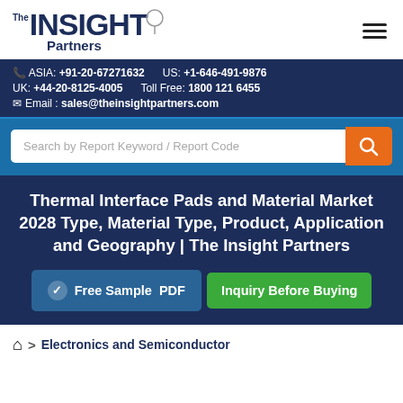The INSIGHT Partners
ASIA: +91-20-67271632   US: +1-646-491-9876
UK: +44-20-8125-4005   Toll Free: 1800 121 6455
Email : sales@theinsightpartners.com
Search by Report Keyword / Report Code
Thermal Interface Pads and Material Market 2028 Type, Material Type, Product, Application and Geography | The Insight Partners
Free Sample PDF
Inquiry Before Buying
> Electronics and Semiconductor